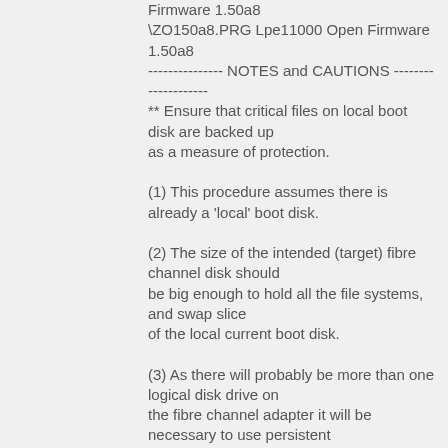Firmware 1.50a8
\ZO150a8.PRG Lpe11000 Open Firmware 1.50a8
--------------- NOTES and CAUTIONS --------------------
** Ensure that critical files on local boot disk are backed up
as a measure of protection.

(1) This procedure assumes there is already a 'local' boot disk.

(2) The size of the intended (target) fibre channel disk should
be big enough to hold all the file systems, and swap slice
of the local current boot disk.

(3) As there will probably be more than one logical disk drive on
the fibre channel adapter it will be necessary to use persistent
binding ('nailing' a specific scsi id to a specific wwpn or did).

(4) It will be necessary to correlate the intended boot disk displayed
by the 'probe-scsi-all' command to the devices displayed by the